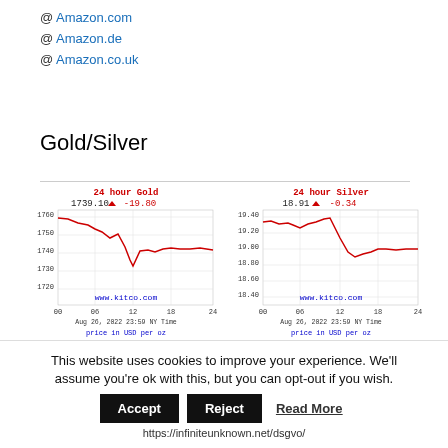@ Amazon.com
@ Amazon.de
@ Amazon.co.uk
Gold/Silver
[Figure (continuous-plot): 24 hour Gold price chart from kitco.com. Shows price in USD per oz, dated Aug 26, 2022 23:59 NY Time. Current price 1739.10, down -19.80. Y-axis ranges from 1720 to 1760. X-axis shows hours 00, 06, 12, 18, 24.]
[Figure (continuous-plot): 24 hour Silver price chart from kitco.com. Shows price in USD per oz, dated Aug 26, 2022 23:59 NY Time. Current price 18.91, down -0.34. Y-axis ranges from 18.40 to 19.40. X-axis shows hours 00, 06, 12, 18, 24.]
This website uses cookies to improve your experience. We'll assume you're ok with this, but you can opt-out if you wish.
Accept | Reject | Read More
https://infiniteunknown.net/dsgvo/